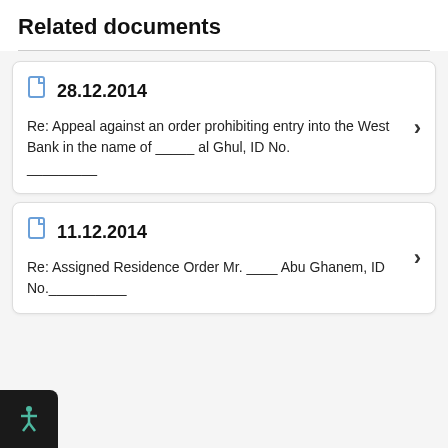Related documents
28.12.2014
Re: Appeal against an order prohibiting entry into the West Bank in the name of _____ al Ghul, ID No. _________
11.12.2014
Re: Assigned Residence Order Mr. ____ Abu Ghanem, ID No.__________